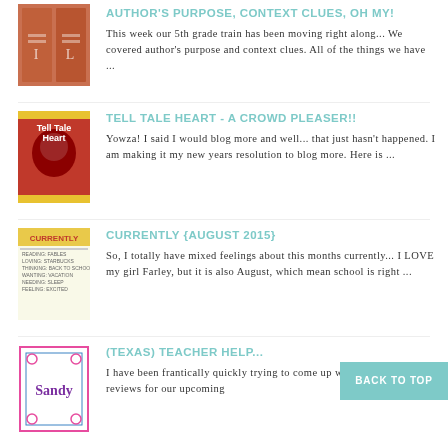[Figure (photo): Thumbnail image of orange book covers]
AUTHOR'S PURPOSE, CONTEXT CLUES, OH MY!
This week our 5th grade train has been moving right along... We covered author's purpose and context clues. All of the things we have ...
[Figure (photo): Thumbnail image of Tell Tale Heart book cover]
TELL TALE HEART - A CROWD PLEASER!!
Yowza! I said I would blog more and well... that just hasn't happened. I am making it my new years resolution to blog more. Here is ...
[Figure (photo): Thumbnail image of Currently August 2015 document]
CURRENTLY {AUGUST 2015}
So, I totally have mixed feelings about this months currently... I LOVE my girl Farley, but it is also August, which mean school is right ...
[Figure (photo): Thumbnail image of Texas Teacher Help Sandy document]
(TEXAS) TEACHER HELP...
I have been frantically quickly trying to come up with some fun reviews for our upcoming...
BACK TO TOP